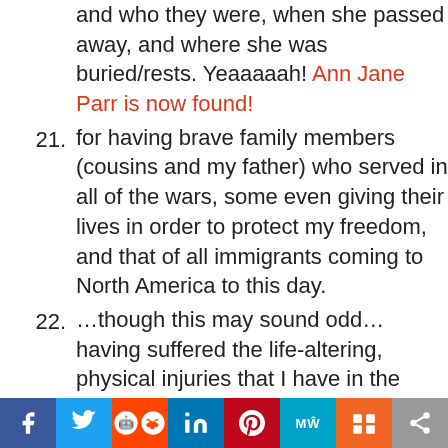and who they were, when she passed away, and where she was buried/rests. Yeaaaaah! Ann Jane Parr is now found!
21. for having brave family members (cousins and my father) who served in all of the wars, some even giving their lives in order to protect my freedom, and that of all immigrants coming to North America to this day.
22. ...though this may sound odd... having suffered the life-altering, physical injuries that I have in the past, as I have been forced to learn